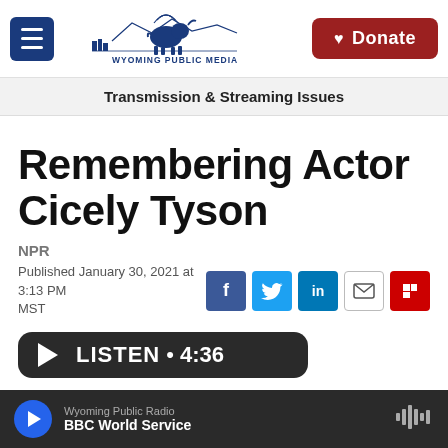Wyoming Public Media | Donate
Transmission & Streaming Issues
Remembering Actor Cicely Tyson
NPR
Published January 30, 2021 at 3:13 PM MST
[Figure (screenshot): Social sharing icons: Facebook, Twitter, LinkedIn, Email, Flipboard]
[Figure (screenshot): Audio player button: LISTEN • 4:36]
Wyoming Public Radio | BBC World Service